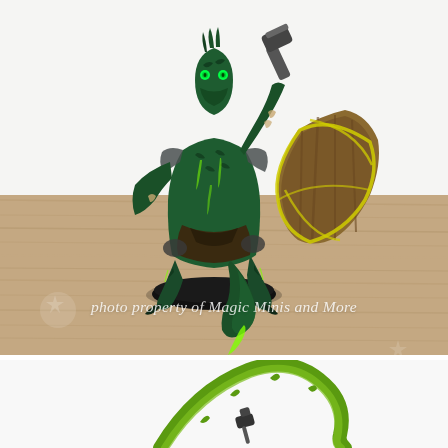[Figure (photo): A painted tabletop miniature figure of a lizardfolk/reptilian warrior in dark green scales and armor, holding a hammer aloft in one hand and a battered wooden shield with yellow/green bindings in the other. The figure stands on a black round base, placed on a wooden surface. A watermark reads 'photo property of Magic Minis and More'.]
[Figure (photo): Partial view of another green painted miniature figure or accessory, showing a curved green vine/thorn element and a small dark object against a white background, partially cropped at the bottom of the page.]